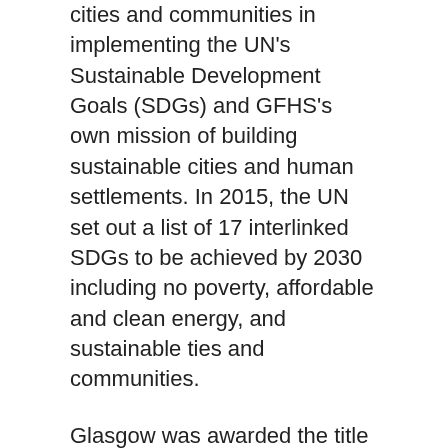cities and communities in implementing the UN's Sustainable Development Goals (SDGs) and GFHS's own mission of building sustainable cities and human settlements. In 2015, the UN set out a list of 17 interlinked SDGs to be achieved by 2030 including no poverty, affordable and clean energy, and sustainable ties and communities.
Glasgow was awarded the title for having scored highly on a wide range of criteria including transportation, the economy, and low carbon and energy efficiency. Writing in The Glasgow Times, Councillor Susan Aitken, Leader of Glasgow City Council stated that the award was not a "mere plaudit", but "can lead to investment, jobs, the staging of major events and the financial boost these bring".
Upon accepting the award, Aitken announced: "It has been wonderful to receive this award on behalf of Glasgow. Achieving the status of a Global Green City